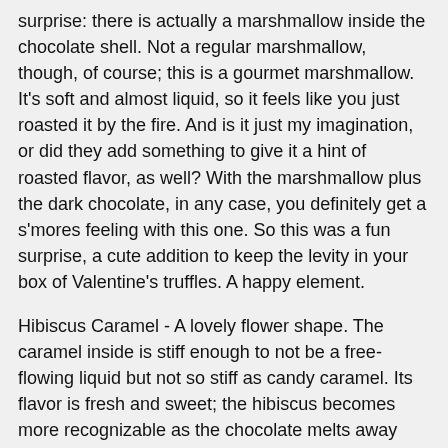surprise: there is actually a marshmallow inside the chocolate shell. Not a regular marshmallow, though, of course; this is a gourmet marshmallow. It's soft and almost liquid, so it feels like you just roasted it by the fire. And is it just my imagination, or did they add something to give it a hint of roasted flavor, as well? With the marshmallow plus the dark chocolate, in any case, you definitely get a s'mores feeling with this one. So this was a fun surprise, a cute addition to keep the levity in your box of Valentine's truffles. A happy element.
Hibiscus Caramel - A lovely flower shape. The caramel inside is stiff enough to not be a free-flowing liquid but not so stiff as candy caramel. Its flavor is fresh and sweet; the hibiscus becomes more recognizable as the chocolate melts away and as the flavor has a chance to settle into your mouth and mind more (because, of course, being caramel, it sticks around for a bit). The caramel is definitely sweet, which makes me think of those times when I've ordered jamaica at a restaurant (I always call hibiscus the flower and jamaica the beverage) only to find that it's sweetened much more than the way that I drink it at home. But of course a